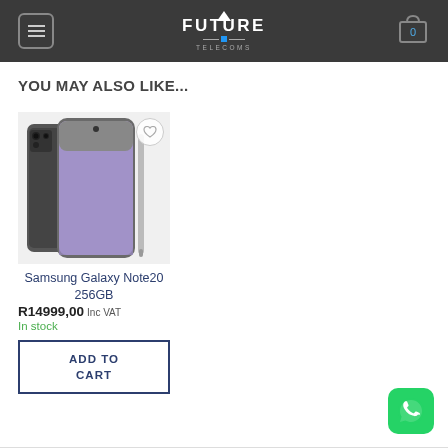Future Telecoms
YOU MAY ALSO LIKE...
[Figure (photo): Samsung Galaxy Note20 256GB smartphone product image showing front and back with S Pen]
Samsung Galaxy Note20 256GB
R14999,00 Inc VAT
In stock
ADD TO CART